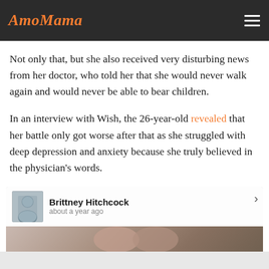AmoMama
Not only that, but she also received very disturbing news from her doctor, who told her that she would never walk again and would never be able to bear children.
In an interview with Wish, the 26-year-old revealed that her battle only got worse after that as she struggled with deep depression and anxiety because she truly believed in the physician's words.
[Figure (photo): Facebook post screenshot showing Brittney Hitchcock profile picture and name with timestamp 'about a year ago', with a photo of a woman with pink/red hair and a man with a mohawk hairstyle below.]